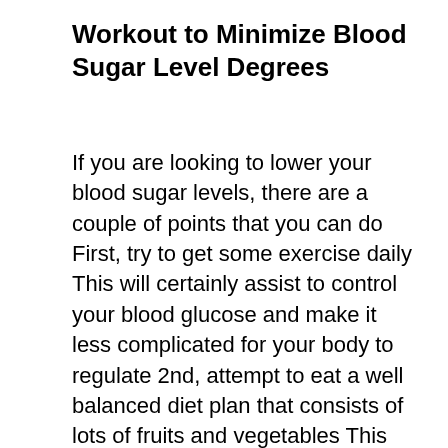Workout to Minimize Blood Sugar Level Degrees
If you are looking to lower your blood sugar levels, there are a couple of points that you can do First, try to get some exercise daily This will certainly assist to control your blood glucose and make it less complicated for your body to regulate 2nd, attempt to eat a well balanced diet plan that consists of lots of fruits and vegetables This will assist to support your blood sugar level and stop spikes Third, consider taking supplements or medications that can help to regulate your blood glucose Ultimately, make sure to monitor your blood glucose degrees frequently to ensure that you can adjust your strategy as needed